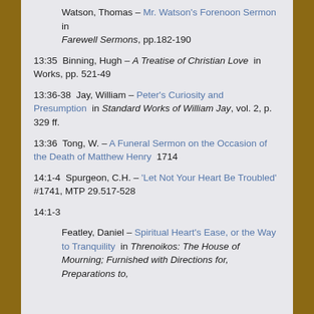Watson, Thomas – Mr. Watson's Forenoon Sermon in Farewell Sermons, pp.182-190
13:35  Binning, Hugh – A Treatise of Christian Love  in Works, pp. 521-49
13:36-38  Jay, William – Peter's Curiosity and Presumption  in Standard Works of William Jay, vol. 2, p. 329 ff.
13:36  Tong, W. – A Funeral Sermon on the Occasion of the Death of Matthew Henry  1714
14:1-4  Spurgeon, C.H. – 'Let Not Your Heart Be Troubled'  #1741, MTP 29.517-528
14:1-3
Featley, Daniel – Spiritual Heart's Ease, or the Way to Tranquility  in Threnoikos: The House of Mourning; Furnished with Directions for, Preparations to,